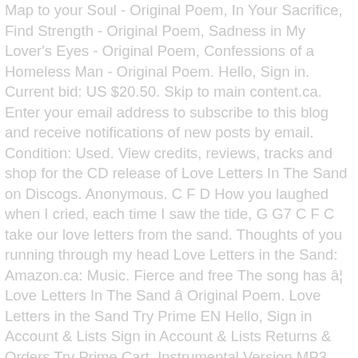Map to your Soul - Original Poem, In Your Sacrifice, Find Strength - Original Poem, Sadness in My Lover's Eyes - Original Poem, Confessions of a Homeless Man - Original Poem. Hello, Sign in. Current bid: US $20.50. Skip to main content.ca. Enter your email address to subscribe to this blog and receive notifications of new posts by email. Condition: Used. View credits, reviews, tracks and shop for the CD release of Love Letters In The Sand on Discogs. Anonymous. C F D How you laughed when I cried, each time I saw the tide, G G7 C F C take our love letters from the sand. Thoughts of you running through my head Love Letters in the Sand: Amazon.ca: Music. Fierce and free The song has â¦ Love Letters In The Sand â Original Poem. Love Letters in the Sand Try Prime EN Hello, Sign in Account & Lists Sign in Account & Lists Returns & Orders Try Prime Cart. Instrumental Version MP3. Key. ◆◆v◆◆◆"_◆◆O◆y◆◆A◆V◆◆ Song information for Love Letters in the Sand - Pat Boone on AllMusic Same as the original tempo: varies during the song. Pat Boone sings "Love Letters In The Sand". Post was not sent - check your email addresses! Label: